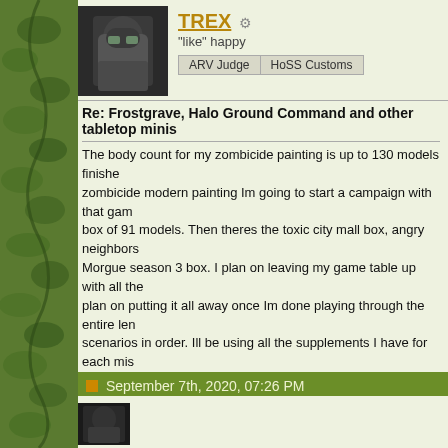[Figure (photo): User avatar showing a dark armored figure (Halo/sci-fi miniature themed avatar)]
TREX
"like" happy
ARV Judge | HoSS Customs
Re: Frostgrave, Halo Ground Command and other tabletop minis
The body count for my zombicide painting is up to 130 models finished zombicide modern painting Im going to start a campaign with that game box of 91 models. Then theres the toxic city mall box, angry neighbors Morgue season 3 box. I plan on leaving my game table up with all the plan on putting it all away once Im done playing through the entire len scenarios in order. Ill be using all the supplements I have for each mis for the first handful of booklets. All survivors that die will be out of the based on if I have any survivors left by the end of the campaign. Ill pro zombicide modern season 2 arrives in the mail probably later this yea and survivors is definitely because I plan on running some intense wa plenty of zombies on the board and proxying the characters I have ca
Check out my latest designs for custom scape dice rollers and affordab brother's online shop https://www.trexy3d.com/collections/tabletop-gaming
September 7th, 2020, 07:26 PM